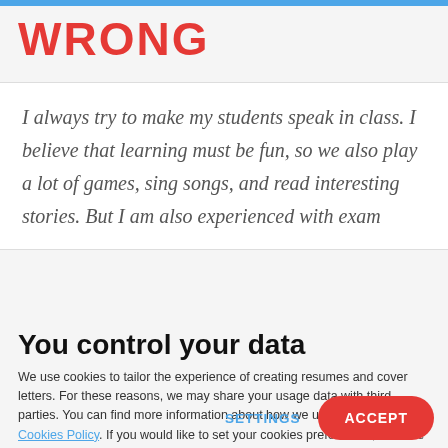WRONG
I always try to make my students speak in class. I believe that learning must be fun, so we also play a lot of games, sing songs, and read interesting stories. But I am also experienced with exam
You control your data
We use cookies to tailor the experience of creating resumes and cover letters. For these reasons, we may share your usage data with third parties. You can find more information about how we use cookies on our Cookies Policy. If you would like to set your cookies preferences, click the Settings button below. To accept all cookies, click Accept.